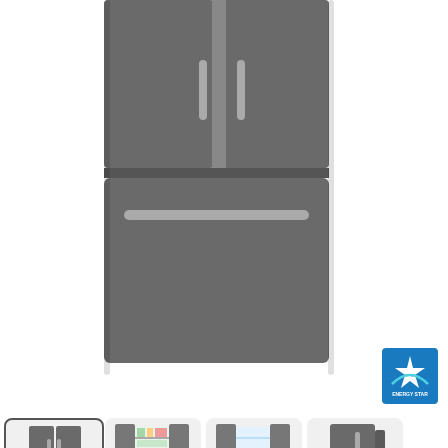[Figure (photo): GE Appliances French door refrigerator in slate/dark finish, showing front view with two upper doors and bottom freezer drawer with handle. Cropped to show lower half of the appliance.]
[Figure (logo): ENERGY STAR certification badge in blue and teal colors]
[Figure (photo): Thumbnail 1 (selected/highlighted): Front view of GE slate French door refrigerator]
[Figure (photo): Thumbnail 2: GE slate French door refrigerator with upper doors open showing food inside]
[Figure (photo): Thumbnail 3: GE slate French door refrigerator with upper doors open showing empty interior]
[Figure (photo): Thumbnail 4: Angled side view of GE slate French door refrigerator]
[Figure (logo): GE Appliances logo: circular GE monogram badge followed by text 'GE APPLIANCES']